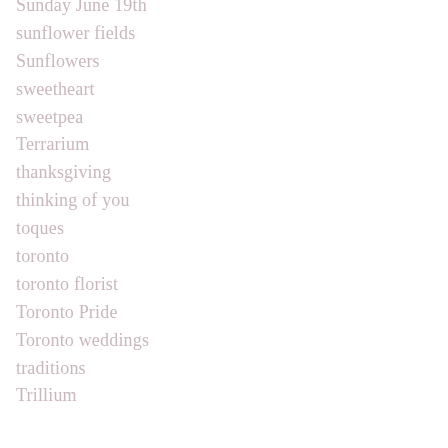Sunday June 19th
sunflower fields
Sunflowers
sweetheart
sweetpea
Terrarium
thanksgiving
thinking of you
toques
toronto
toronto florist
Toronto Pride
Toronto weddings
traditions
Trillium